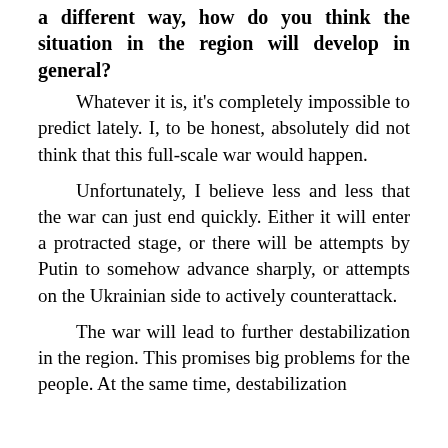a different way, how do you think the situation in the region will develop in general?
Whatever it is, it's completely impossible to predict lately. I, to be honest, absolutely did not think that this full-scale war would happen.
Unfortunately, I believe less and less that the war can just end quickly. Either it will enter a protracted stage, or there will be attempts by Putin to somehow advance sharply, or attempts on the Ukrainian side to actively counterattack.
The war will lead to further destabilization in the region. This promises big problems for the people. At the same time, destabilization